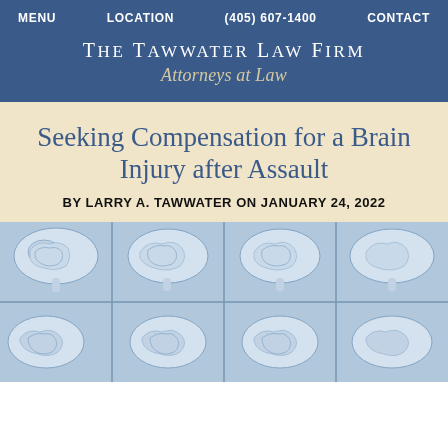MENU   LOCATION   (405) 607-1400   CONTACT
The Tawwater Law Firm
Attorneys at Law
Seeking Compensation for a Brain Injury after Assault
BY LARRY A. TAWWATER ON JANUARY 24, 2022
[Figure (photo): MRI brain scan images showing multiple cross-sectional views of a human brain arranged in a grid pattern on a light blue X-ray film]